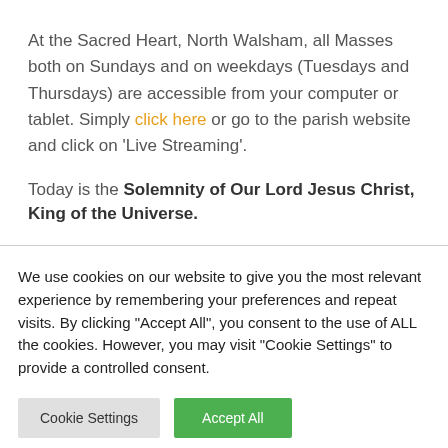At the Sacred Heart, North Walsham, all Masses both on Sundays and on weekdays (Tuesdays and Thursdays) are accessible from your computer or tablet. Simply click here or go to the parish website and click on 'Live Streaming'.
Today is the Solemnity of Our Lord Jesus Christ, King of the Universe.
We use cookies on our website to give you the most relevant experience by remembering your preferences and repeat visits. By clicking "Accept All", you consent to the use of ALL the cookies. However, you may visit "Cookie Settings" to provide a controlled consent.